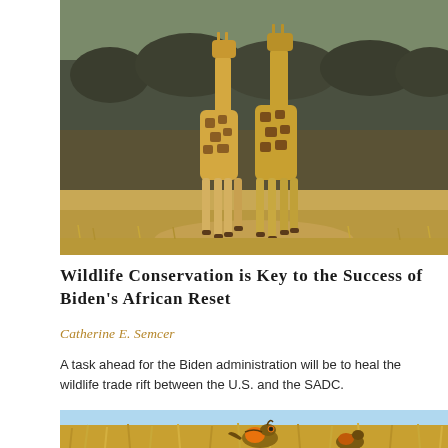[Figure (photo): Two giraffes walking through dry African savanna with sparse trees and golden grass in background]
Wildlife Conservation is Key to the Success of Biden's African Reset
Catherine E. Semcer
A task ahead for the Biden administration will be to heal the wildlife trade rift between the U.S. and the SADC.
[Figure (photo): Bird (prairie chicken or similar grouse) in golden dry grass field]